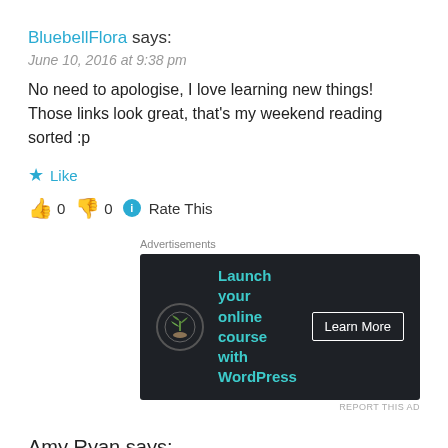BluebellFlora says:
June 10, 2016 at 9:38 pm
No need to apologise, I love learning new things! Those links look great, that's my weekend reading sorted :p
★ Like
👍 0 👎 0 ℹ Rate This
[Figure (screenshot): Advertisement banner: dark background with bonsai tree icon, teal text 'Launch your online course with WordPress', white 'Learn More' button]
Amy Ryan says:
June 13, 2016 at 9:25 am
Hey Bluebell,